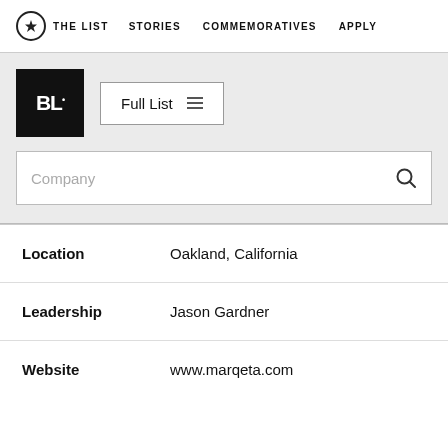THE LIST   STORIES   COMMEMORATIVES   APPLY
[Figure (logo): BL dot logo — white text on black square background]
Full List
Company
Location: Oakland, California
Leadership: Jason Gardner
Website: www.marqeta.com